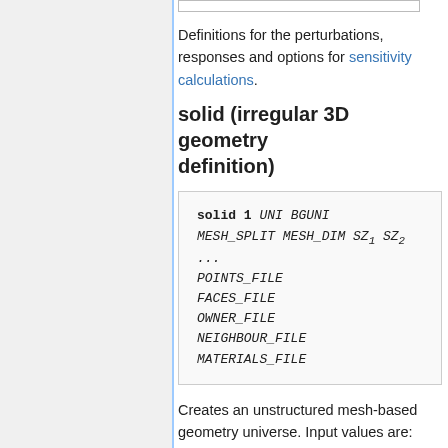Definitions for the perturbations, responses and options for sensitivity calculations.
solid (irregular 3D geometry definition)
Creates an unstructured mesh-based geometry universe. Input values are:
UNI : universe name for the irregular